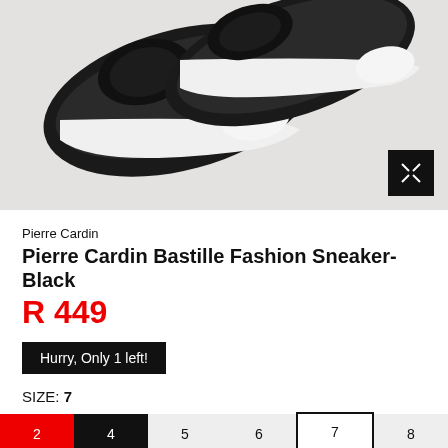[Figure (photo): Product photo of Pierre Cardin Bastille Fashion Sneaker in black and white colorway, showing two sneakers from above on a light grey background. An expand/fullscreen icon button is in the bottom right corner of the image.]
Pierre Cardin
Pierre Cardin Bastille Fashion Sneaker- Black
R 449
Hurry, Only 1 left!
SIZE: 7
2  4  5  6  7  8